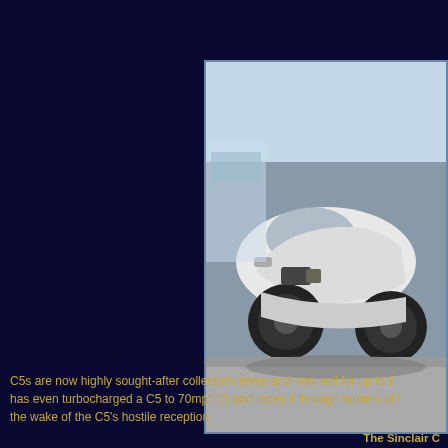[Figure (photo): A photograph of a Sinclair C5 electric vehicle, showing the front and side profile against a blurred background. The vehicle appears white/light colored with a distinctive low-slung pod body shape.]
The Sinclair C
C5s are now highly sought-after collector's items and now sell for up to £ has even turbocharged a C5 to 70mph (!) and races it through tunnels of l the wake of the C5's hostile reception.